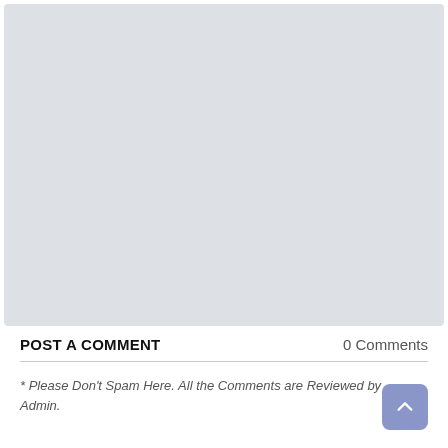[Figure (other): Large light gray rectangular placeholder box occupying the upper portion of the page]
POST A COMMENT
0 Comments
* Please Don't Spam Here. All the Comments are Reviewed by Admin.